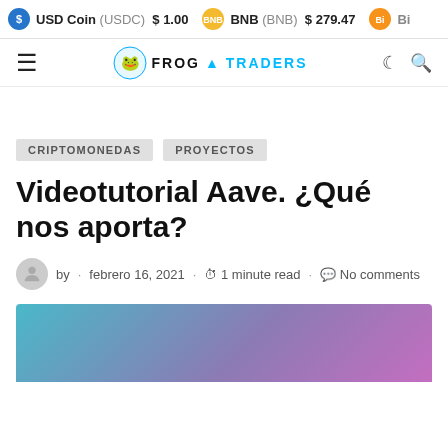USD Coin (USDC) $1.00  |  BNB (BNB) $279.47  |  Bi...
[Figure (logo): Frog Traders website logo with frog mascot icon, text FROG TRADERS]
CRIPTOMONEDAS  PROYECTOS
Videotutorial Aave. ¿Qué nos aporta?
by · febrero 16, 2021 · 1 minute read · No comments
[Figure (illustration): Gradient hero image with teal to purple gradient background]